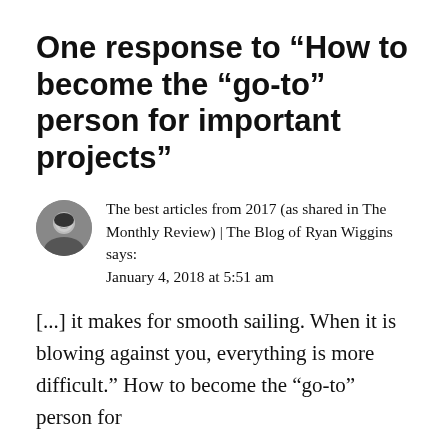One response to “How to become the “go-to” person for important projects”
The best articles from 2017 (as shared in The Monthly Review) | The Blog of Ryan Wiggins says:
January 4, 2018 at 5:51 am
[...] it makes for smooth sailing. When it is blowing against you, everything is more difficult.” How to become the “go-to” person for